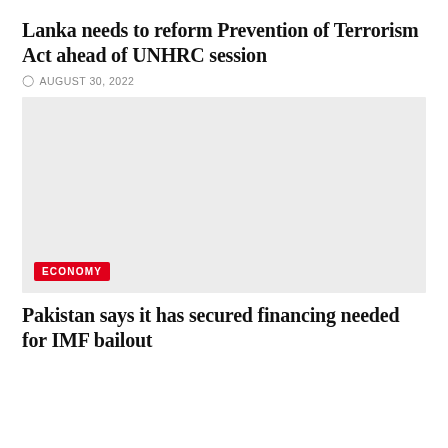Lanka needs to reform Prevention of Terrorism Act ahead of UNHRC session
AUGUST 30, 2022
[Figure (photo): Large image placeholder with light grey background]
ECONOMY
Pakistan says it has secured financing needed for IMF bailout